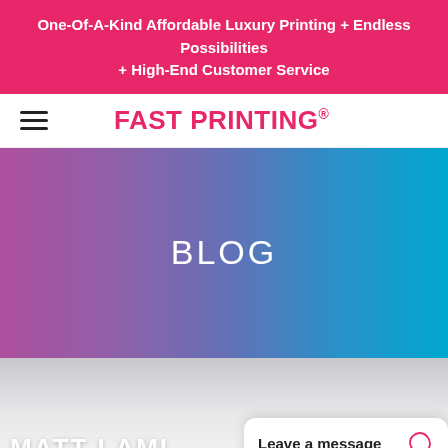One-Of-A-Kind Affordable Luxury Printing + Endless Possibilities + High-End Customer Service
FAST PRINTING.
BLOG
MATT LAMI
Leave a message